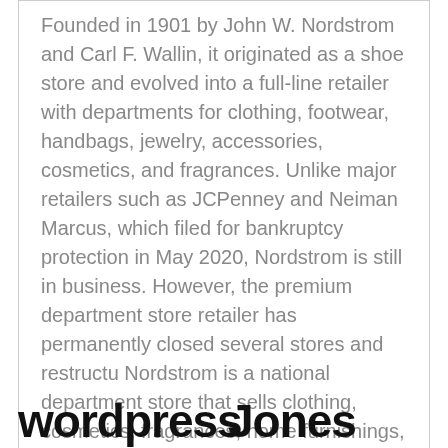Founded in 1901 by John W. Nordstrom and Carl F. Wallin, it originated as a shoe store and evolved into a full-line retailer with departments for clothing, footwear, handbags, jewelry, accessories, cosmetics, and fragrances. Unlike major retailers such as JCPenney and Neiman Marcus, which filed for bankruptcy protection in May 2020, Nordstrom is still in business. However, the premium department store retailer has permanently closed several stores and restructu Nordstrom is a national department store that sells clothing, cosmetics, fragrances, home furnishings, purses and jewelry.
wordpress
Jones